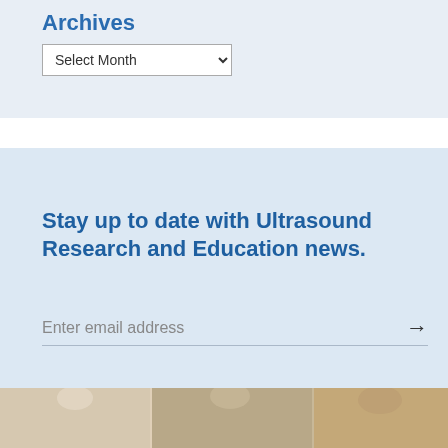Archives
Select Month
Stay up to date with Ultrasound Research and Education news.
Enter email address
[Figure (photo): Group of people standing together, partially visible at the bottom of the newsletter signup section]